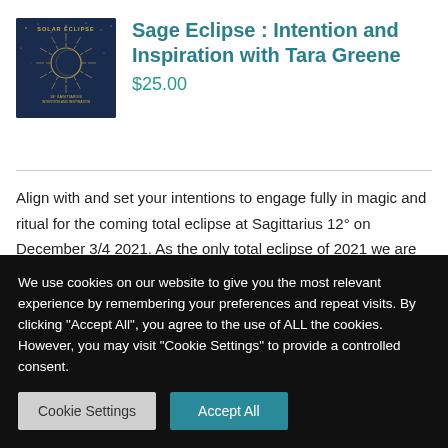[Figure (illustration): Book cover for 'Solar Eclipse: Intention and Inspiration' with blue background, golden eclipse/sun design, and text at bottom]
Sage Eclipse : Intention and Inspiration with Tara Greene
$25.00
Align with and set your intentions to engage fully in magic and ritual for the coming total eclipse at Sagittarius 12° on December 3/4 2021. As the only total eclipse of 2021 we are
We use cookies on our website to give you the most relevant experience by remembering your preferences and repeat visits. By clicking "Accept All", you agree to the use of ALL the cookies. However, you may visit "Cookie Settings" to provide a controlled consent.